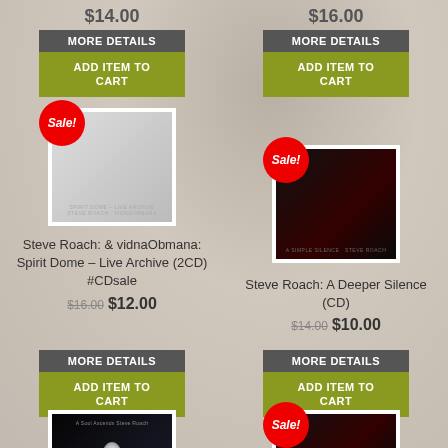$14.00
$16.00
MORE DETAILS
ADD ITEM TO CART
MORE DETAILS
ADD ITEM TO CART
[Figure (photo): Album cover for Steve Roach & vidnaObmana: Spirit Dome Live Archive (2CD) - light gray toned image with Sale! badge]
[Figure (photo): Album cover for Steve Roach: A Deeper Silence (CD) - dark red/black image with Sale! badge]
Steve Roach: & vidnaObmana: Spirit Dome – Live Archive (2CD) #CDsale
$16.00 $12.00
Steve Roach: A Deeper Silence (CD)
$14.00 $10.00
MORE DETAILS
ADD ITEM TO CART
MORE DETAILS
ADD ITEM TO CART
[Figure (photo): Album cover for A Soul Ascends - Steve Roach, dark space image]
[Figure (photo): Album cover (dark) with Sale! badge]